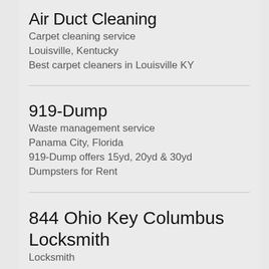Air Duct Cleaning
Carpet cleaning service
Louisville, Kentucky
Best carpet cleaners in Louisville KY
919-Dump
Waste management service
Panama City, Florida
919-Dump offers 15yd, 20yd & 30yd Dumpsters for Rent
844 Ohio Key Columbus Locksmith
Locksmith